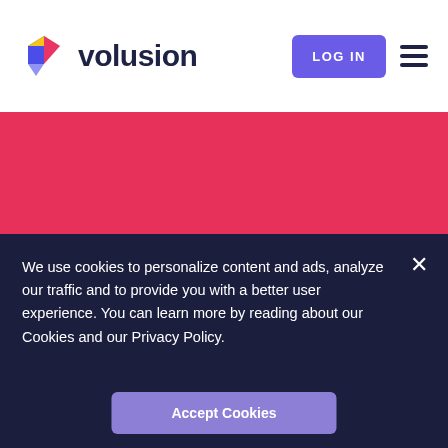[Figure (logo): Volusion logo: colorful diamond/chevron icon in yellow, magenta, blue colors next to the text 'volusion' in dark navy]
LOG IN
Stores to Change the World
Providing Online Stores to Deserving Nonprofit Organizations
We use cookies to personalize content and ads, analyze our traffic and to provide you with a better user experience. You can learn more by reading about our Cookies and our Privacy Policy.